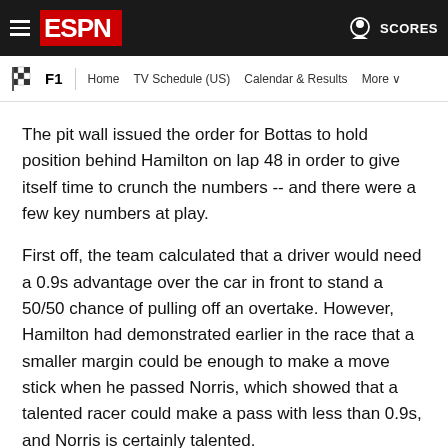ESPN F1 navigation bar — Home | TV Schedule (US) | Calendar & Results | More | SCORES
The pit wall issued the order for Bottas to hold position behind Hamilton on lap 48 in order to give itself time to crunch the numbers -- and there were a few key numbers at play.
First off, the team calculated that a driver would need a 0.9s advantage over the car in front to stand a 50/50 chance of pulling off an overtake. However, Hamilton had demonstrated earlier in the race that a smaller margin could be enough to make a move stick when he passed Norris, which showed that a talented racer could make a pass with less than 0.9s, and Norris is certainly talented.
[Figure (other): Empty white rectangle with border at the bottom of the page, likely an ad placeholder.]